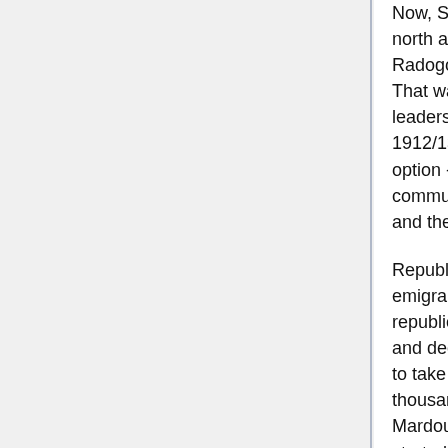Now, SPS land was encircled. Kazkay from the north attacked them several times, and moving to Radogozh with battles could took about 6 months. That was already too much for SPS, as party leaders were afraid that Suria will cease in 1912/13 winter. They were thinking of another option -- arming strikers and proclaiming "working communes" around Radogozh, encircling capital and then crushing the tsar's army.
Republican Union was originally a group of Surian emigrants, dreaming of Suria being democratic republic. They saw their country breaking apart and decided to reach Radogozh before socialists to take their sweet piece of pie. They hired a few thousands of merchants, crossed the border in Mardoumakhstan and Plevia without problem and started